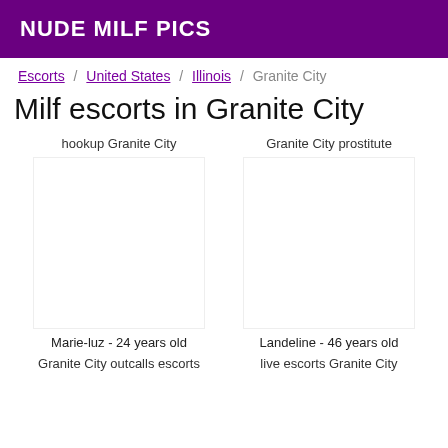NUDE MILF PICS
Escorts / United States / Illinois / Granite City
Milf escorts in Granite City
hookup Granite City
Granite City prostitute
[Figure (photo): Photo placeholder for Marie-luz, 24 years old]
[Figure (photo): Photo placeholder for Landeline, 46 years old]
Marie-luz - 24 years old
Landeline - 46 years old
Granite City outcalls escorts
live escorts Granite City